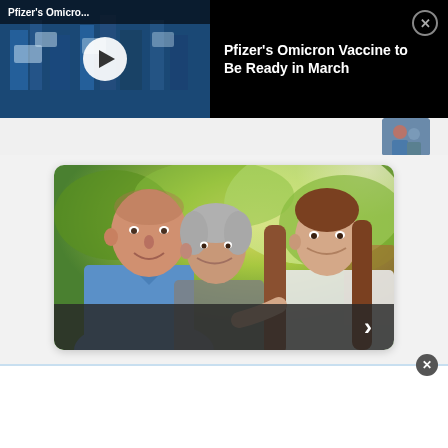[Figure (screenshot): Video thumbnail showing medical equipment with blue-tinted overlay and title 'Pfizer's Omicro...' with play button]
Pfizer's Omicron Vaccine to Be Ready in March
[Figure (photo): Small thumbnail of medical/healthcare scene]
[Figure (photo): Photo of three people outdoors: older man in blue shirt, older woman with grey hair, young woman with long brown hair, smiling together with green foliage background]
[Figure (screenshot): White advertisement bar at the bottom with close button]